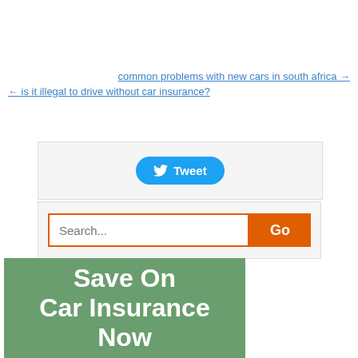common problems with new cars in south africa →
← is it illegal to drive without car insurance?
[Figure (screenshot): Tweet button widget in a light grey box]
[Figure (screenshot): Search bar with orange border and orange Go button]
[Figure (infographic): Green banner with white bold text: Save On Car Insurance Now]